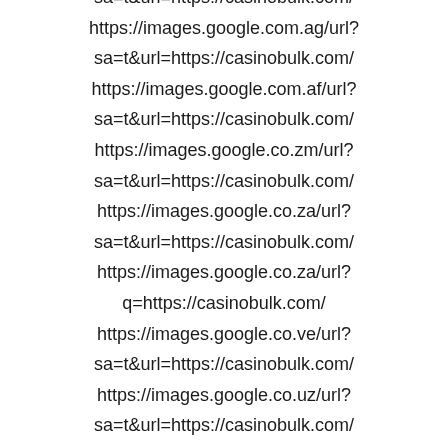sa=t&url=https://casinobulk.com/
https://images.google.com.ag/url?sa=t&url=https://casinobulk.com/
https://images.google.com.af/url?sa=t&url=https://casinobulk.com/
https://images.google.co.zm/url?sa=t&url=https://casinobulk.com/
https://images.google.co.za/url?sa=t&url=https://casinobulk.com/
https://images.google.co.za/url?q=https://casinobulk.com/
https://images.google.co.ve/url?sa=t&url=https://casinobulk.com/
https://images.google.co.uz/url?sa=t&url=https://casinobulk.com/
https://images.google.co.uk/url?sa=t&url=https://casinobulk.com/
https://images.google.co.ug/url?